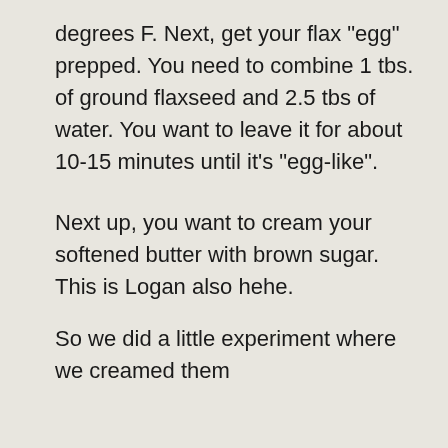degrees F. Next, get your flax "egg" prepped. You need to combine 1 tbs. of ground flaxseed and 2.5 tbs of water. You want to leave it for about 10-15 minutes until it's "egg-like".
Next up, you want to cream your softened butter with brown sugar. This is Logan also hehe.
So we did a little experiment where we creamed them